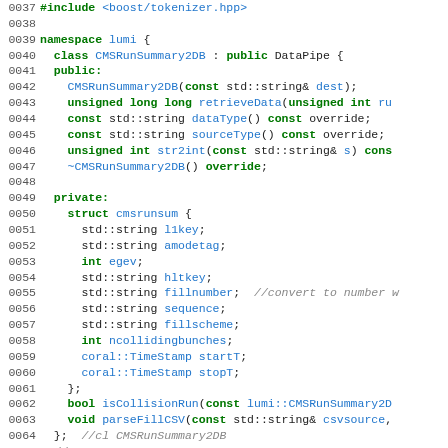[Figure (screenshot): Source code listing showing C++ header file excerpt, lines 0037 to 0066, defining the CMSRunSummary2DB class within the lumi namespace, with a cmsrunsum struct containing member variables.]